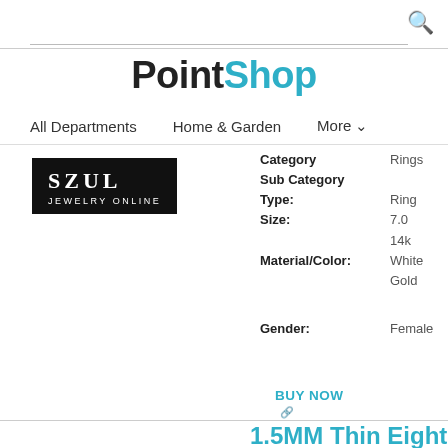PointShop
All Departments   Home & Garden   More
[Figure (logo): SZUL Jewelry Online logo, black background with white text]
| Category | Rings |
| Sub Category |  |
| Type: | Ring |
| Size: | 7.0 |
|  | 14k |
| Material/Color: | White Gold |
| Gender: | Female |
BUY NOW
1.5MM Thin Eight Si